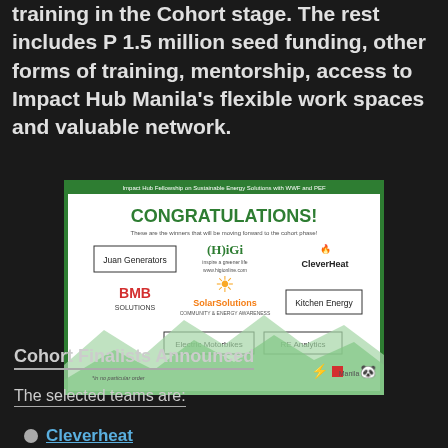training in the Cohort stage. The rest includes P 1.5 million seed funding, other forms of training, mentorship, access to Impact Hub Manila's flexible work spaces and valuable network.
[Figure (infographic): Impact Hub Fellowship on Sustainable Energy Solutions with WWF and PEF congratulations banner listing winners: Juan Generators, HiGi, CleverHeat, BMB Solutions, SolarSolutions, Kitchen Energy, Electric Motorbikes, RE Analytics]
Cohort Finalists Announced
The selected teams are:
Cleverheat